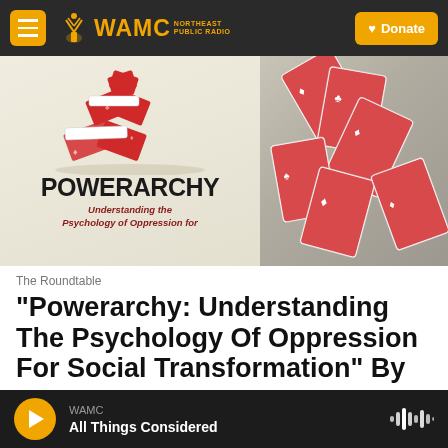WAMC Northeast Public Radio | Donate
[Figure (illustration): Book cover for 'Powerarchy: Understanding the Psychology of Oppression for Social Transformation' showing a collapsing house of playing cards on the left side, and scattered playing cards on the right side against a light background. The word POWERARCHY appears in large bold black text with subtitle 'Understanding the Psychology of Oppression for' in dark red italic text below.]
The Roundtable
"Powerarchy: Understanding The Psychology Of Oppression For Social Transformation" By
WAMC | All Things Considered